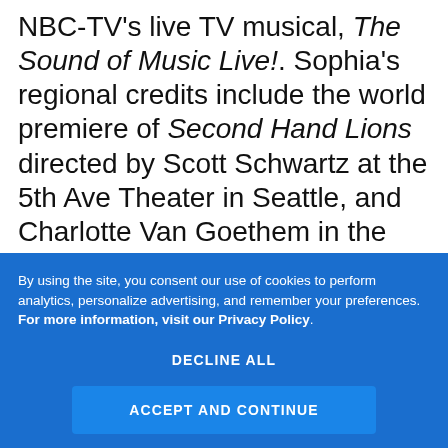NBC-TV's live TV musical, The Sound of Music Live!. Sophia's regional credits include the world premiere of Second Hand Lions directed by Scott Schwartz at the 5th Ave Theater in Seattle, and Charlotte Van Goethem in the world premiere of Little Dancer, directed by Susan Stroman at the Kennedy Center. A two-time Lucille Lortel Award-nominee for her performances in The Nether and Lazarus, Caruso's first Broadway credit was in Blackbird.
By using the site, you consent our use of cookies to perform analytics, personalize advertising, and remember your preferences. For more information, visit our Privacy Policy.
DECLINE ALL
ACCEPT AND CONTINUE